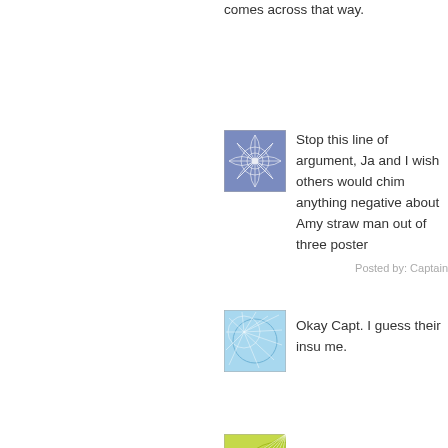comes across that way.
[Figure (illustration): Blue decorative geometric snowflake avatar icon]
Stop this line of argument, Ja and I wish others would chim anything negative about Amy straw man out of three poster
Posted by: Captain
[Figure (illustration): Light blue decorative burst/neural pattern avatar icon]
Okay Capt. I guess their insu me.
[Figure (illustration): Yellow-green decorative arc/fan pattern avatar icon]
If anyone comes across that w
I think it is some form of a me the same sex.
Poste
[Figure (illustration): White/blank avatar icon]
--I thought this was out of line